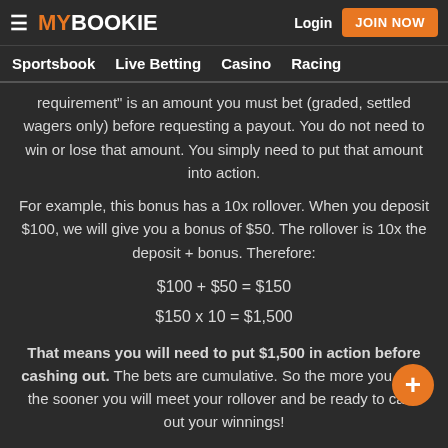MY BOOKIE | Login | JOIN NOW
Sportsbook   Live Betting   Casino   Racing
requirement" is an amount you must bet (graded, settled wagers only) before requesting a payout. You do not need to win or lose that amount. You simply need to put that amount into action.
For example, this bonus has a 10x rollover. When you deposit $100, we will give you a bonus of $50. The rollover is 10x the deposit + bonus. Therefore:
That means you will need to put $1,500 in action before cashing out. The bets are cumulative. So the more you play, the sooner you will meet your rollover and be ready to cash out your winnings!
For Sportsbook Bonuses, only wagers placed in the sportsbook